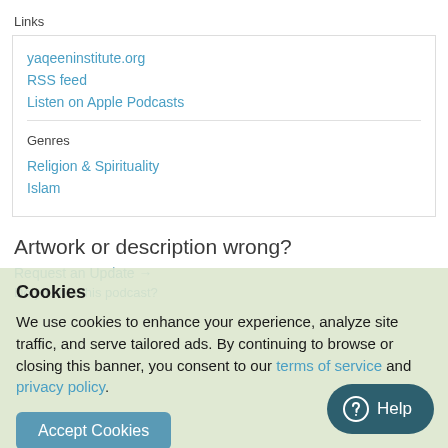Links
yaqeeninstitute.org
RSS feed
Listen on Apple Podcasts
Genres
Religion & Spirituality
Islam
Artwork or description wrong?
Cookies
We use cookies to enhance your experience, analyze site traffic, and serve tailored ads. By continuing to browse or closing this banner, you consent to our terms of service and privacy policy.
Accept Cookies
Help